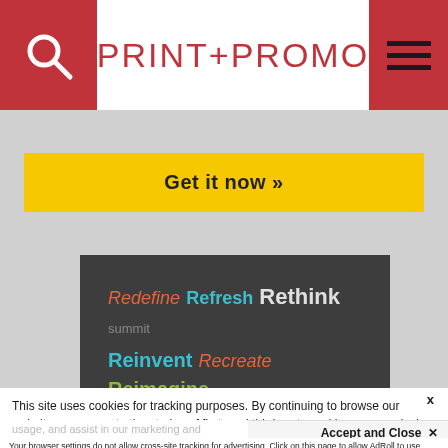PRINT+PROMO
[Figure (screenshot): Yellow 'Get it now »' call-to-action button on grey background]
[Figure (screenshot): Dark banner: Redefine Refresh Rethink Reinvent Recreate Reimagine PRINT.]
This site uses cookies for tracking purposes. By continuing to browse our website, you agree to the storing of first- and third-party cookies on your device to enhance site navigation, analyze site usage, and assist in our marketing and
Accept and Close ✕
Your browser settings do not allow cross-site tracking for advertising. Click on this page to allow AdRoll to use cross-site tracking to tailor ads to you. Learn more or opt out of this AdRoll tracking by clicking here. This message only appears once.